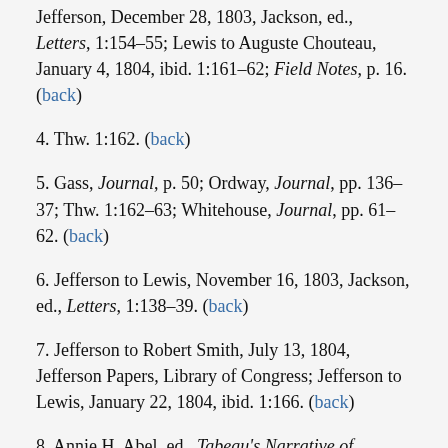Jefferson, December 28, 1803, Jackson, ed., Letters, 1:154–55; Lewis to Auguste Chouteau, January 4, 1804, ibid. 1:161–62; Field Notes, p. 16. (back)
4. Thw. 1:162. (back)
5. Gass, Journal, p. 50; Ordway, Journal, pp. 136–37; Thw. 1:162–63; Whitehouse, Journal, pp. 61–62. (back)
6. Jefferson to Lewis, November 16, 1803, Jackson, ed., Letters, 1:138–39. (back)
7. Jefferson to Robert Smith, July 13, 1804, Jefferson Papers, Library of Congress; Jefferson to Lewis, January 22, 1804, ibid. 1:166. (back)
8. Annie H. Abel, ed., Tabeau's Narrative of Loisel's Expedition to the Upper Missouri (Norman: University of Oklahoma Press, 1939), pp. 121–23, 131; John C. Ewers, "The Indian Trade of the Upper Missouri before Lewis